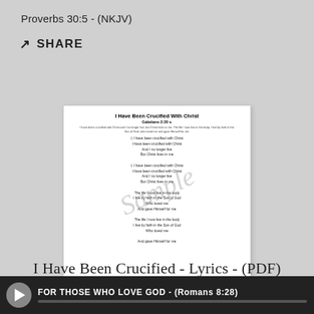Proverbs 30:5 - (NKJV)
SHARE
[Figure (illustration): A white PDF sheet thumbnail showing the song lyrics for 'I Have Been Crucified With Christ' with a 'Sample' watermark overlaid diagonally across the page. The sheet contains a title, scripture reference (Galatians 2:20), a short scripture verse, and two sets of song lyrics verses followed by a bridge section.]
I Have Been Crucified - Lyrics - (PDF)
FOR THOSE WHO LOVE GOD - (Romans 8:28)